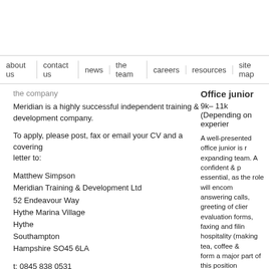about us | contact us | news | the team | careers | resources | site map
the company
Meridian is a highly successful independent training & development company.
To apply, please post, fax or email your CV and a covering letter to:
Matthew Simpson
Meridian Training & Development Ltd
52 Endeavour Way
Hythe Marina Village
Hythe
Southampton
Hampshire SO45 6LA
t: 0845 838 0531
f: 0845 838 0532
email Matthew Simpson
Office junior
9k– 11k (Depending on experience)
A well-presented office junior is needed for our expanding team. A confident & professional manner is essential, as the role will encompass answering calls, greeting of clients, completing evaluation forms, faxing and filing and administration, hospitality (making tea, coffee &...) and these will form a major part of this position.
You must be energetic and enjoy communicating externally & internally. Microsoft Office skills are required, although training will be provided, career opportunities available.
Experienced part time IT teles...
Basic & Commission
We are looking for part time tele... knowledge of Microsoft, Adobe a...
Candidates should be technology... excellent communication skills w... related services; they should be...